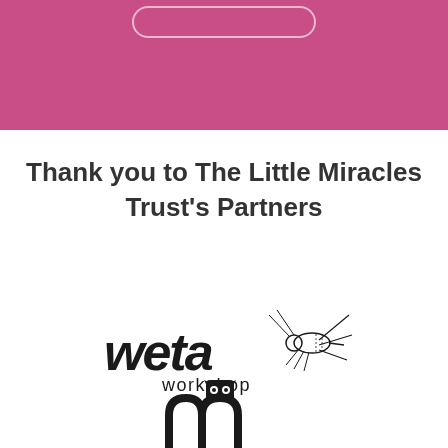[Figure (illustration): Pink/magenta header banner with a faint pill-shaped border outline at top center]
Thank you to The Little Miracles Trust's Partners
[Figure (logo): Weta Workshop logo — stylized hand-drawn text 'weta workshop' with a detailed ink illustration of a weta insect to the right]
[Figure (logo): Mascot logo showing two arch shapes resembling letter 'm' topped with a small owl icon, partially visible at bottom]